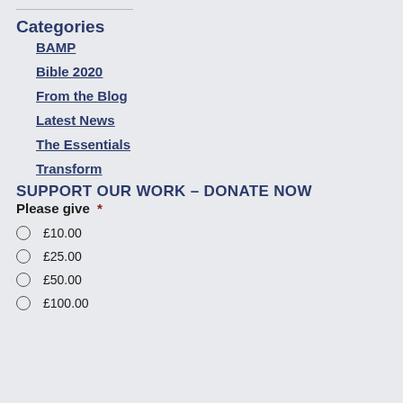Categories
BAMP
Bible 2020
From the Blog
Latest News
The Essentials
Transform
SUPPORT OUR WORK – DONATE NOW
Please give *
£10.00
£25.00
£50.00
£100.00